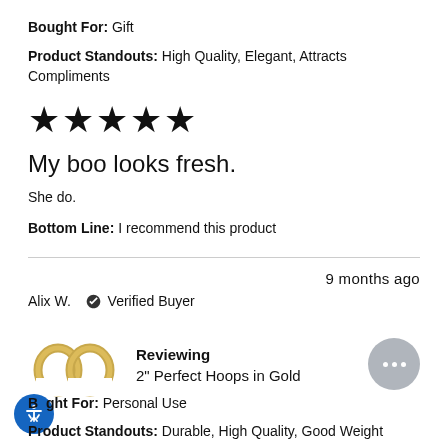Bought For: Gift
Product Standouts: High Quality, Elegant, Attracts Compliments
★★★★★
My boo looks fresh.
She do.
Bottom Line: I recommend this product
9 months ago
Alix W. ✔ Verified Buyer
Reviewing
2" Perfect Hoops in Gold
Bought For: Personal Use
Product Standouts: Durable, High Quality, Good Weight